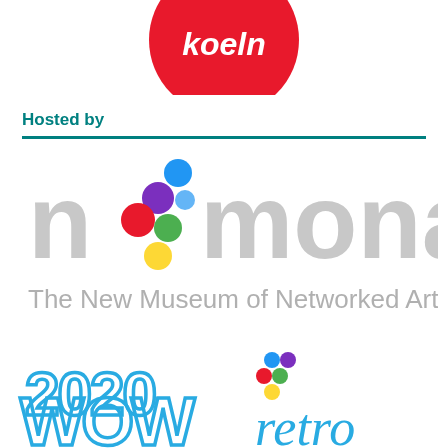[Figure (logo): Koeln logo - red circle with white text 'koeln' in stylized font, partially cropped at top]
Hosted by
[Figure (logo): NOMONa logo - The New Museum of Networked Art, gray text with colorful dots (blue, purple, red, green, yellow) arranged in a cluster replacing the 'o' in 'no']
[Figure (logo): 2020 WOW retro logo - blue outlined chunky text '2020 WOW retro' with colorful dot cluster (blue, purple, red, green, yellow)]